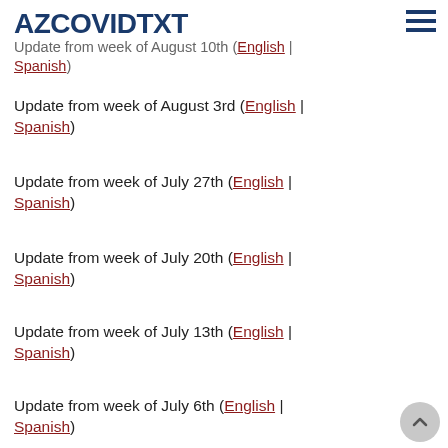AZCOVIDTXT
Update from week of August 10th (English | Spanish)
Update from week of August 3rd (English | Spanish)
Update from week of July 27th (English | Spanish)
Update from week of July 20th (English | Spanish)
Update from week of July 13th (English | Spanish)
Update from week of July 6th (English | Spanish)